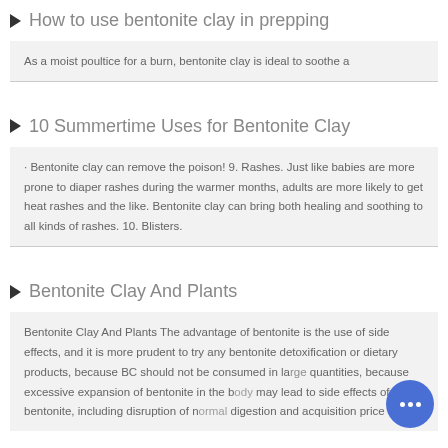How to use bentonite clay in prepping
As a moist poultice for a burn, bentonite clay is ideal to soothe a
10 Summertime Uses for Bentonite Clay
· Bentonite clay can remove the poison! 9. Rashes. Just like babies are more prone to diaper rashes during the warmer months, adults are more likely to get heat rashes and the like. Bentonite clay can bring both healing and soothing to all kinds of rashes. 10. Blisters.
Bentonite Clay And Plants
Bentonite Clay And Plants The advantage of bentonite is the use of side effects, and it is more prudent to try any bentonite detoxification or dietary products, because BC should not be consumed in large quantities, because excessive expansion of bentonite in the body may lead to side effects of bentonite, including disruption of normal digestion and acquisition price